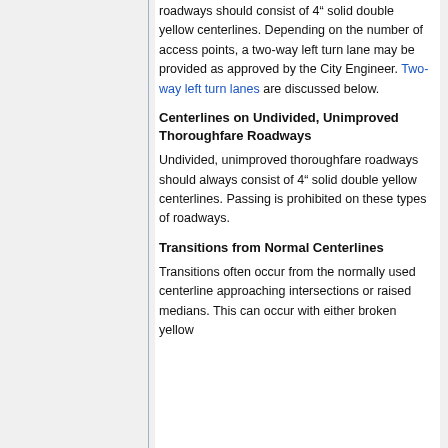roadways should consist of 4" solid double yellow centerlines. Depending on the number of access points, a two-way left turn lane may be provided as approved by the City Engineer. Two-way left turn lanes are discussed below.
Centerlines on Undivided, Unimproved Thoroughfare Roadways
Undivided, unimproved thoroughfare roadways should always consist of 4" solid double yellow centerlines. Passing is prohibited on these types of roadways.
Transitions from Normal Centerlines
Transitions often occur from the normally used centerline approaching intersections or raised medians. This can occur with either broken yellow